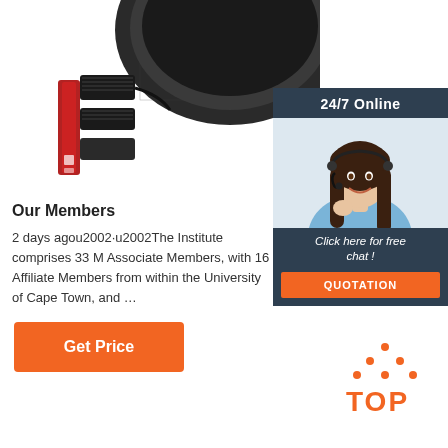[Figure (photo): Partial view of a black and red headset/headphone device with velcro strap, shown on white background, cropped at top-left of page]
[Figure (infographic): 24/7 Online chat panel with dark navy header reading '24/7 Online', a smiling female customer service agent wearing a headset, text 'Click here for free chat!' and an orange QUOTATION button]
Our Members
2 days agou2002·u2002The Institute comprises 33 M Associate Members, with 16 Affiliate Members from within the University of Cape Town, and …
[Figure (other): Orange 'Get Price' button]
[Figure (logo): Orange 'TOP' logo with dots above forming an upward triangle/arrow shape, positioned at bottom-right]